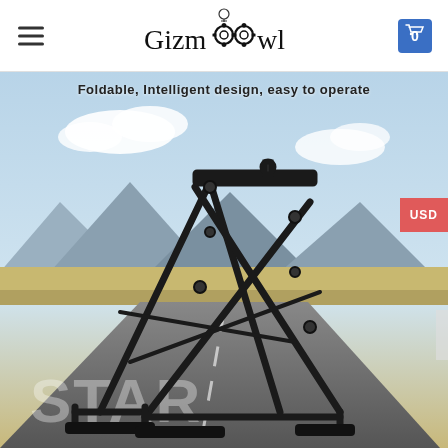Gizmoowl
Foldable, Intelligent design, easy to operate
[Figure (photo): A black foldable bicycle wheel truing stand displayed outdoors on a road with mountains in the background. The stand is made of black metal tubing in an X-frame design with adjustable clamps at the top.]
USD